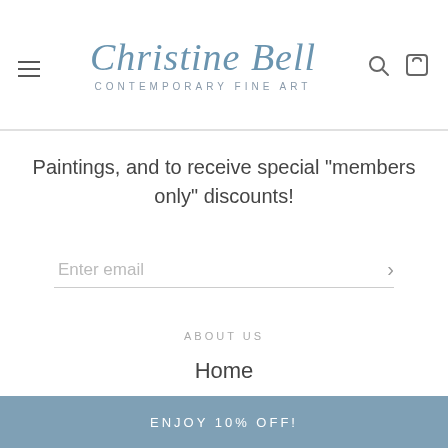[Figure (logo): Christine Bell Contemporary Fine Art logo with script font and navigation icons (hamburger menu, search, shopping bag)]
Paintings, and to receive special "members only" discounts!
Enter email
ABOUT US
Home
ENJOY 10% OFF!